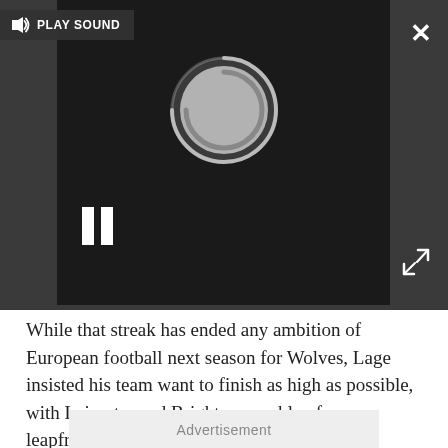[Figure (screenshot): Video player UI with dark background showing a loading spinner circle, pause button (two vertical bars), play sound button in top-left, close X button in top-right, and expand arrows in bottom-right.]
While that streak has ended any ambition of European football next season for Wolves, Lage insisted his team want to finish as high as possible, with Leicester and Brighton capable of leapfrogging them.
“We still have our targets and we need to go there to try to win the game,” Lage said.
Advertisement